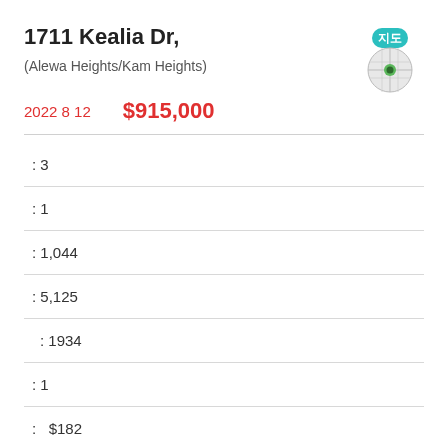1711 Kealia Dr,
(Alewa Heights/Kam Heights)
2022 8 12   $915,000
: 3
: 1
: 1,044
: 5,125
: 1934
: 1
:  $182
: 13 days